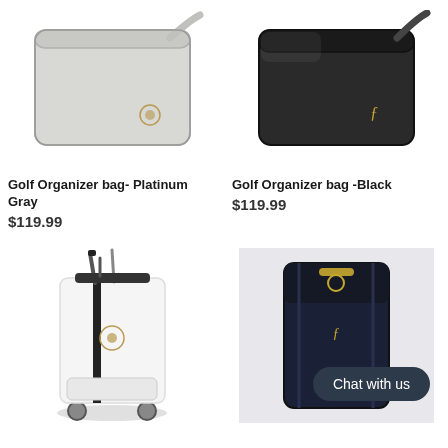[Figure (photo): Golf organizer bag in platinum gray color with shoulder strap]
[Figure (photo): Golf organizer bag in black color with shoulder strap]
Golf Organizer bag- Platinum Gray
$119.99
Golf Organizer bag -Black
$119.99
[Figure (photo): White golf cart bag with clubs and wheels]
[Figure (photo): Dark navy/black golf bag close-up with Chat with us button overlay]
Chat with us